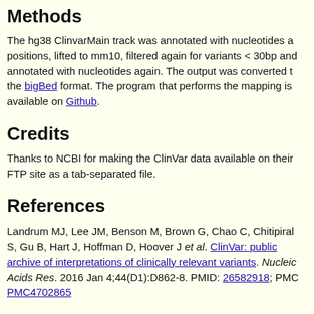Methods
The hg38 ClinvarMain track was annotated with nucleotides at positions, lifted to mm10, filtered again for variants < 30bp and annotated with nucleotides again. The output was converted to the bigBed format. The program that performs the mapping is available on Github.
Credits
Thanks to NCBI for making the ClinVar data available on their FTP site as a tab-separated file.
References
Landrum MJ, Lee JM, Benson M, Brown G, Chao C, Chitipiralla S, Gu B, Hart J, Hoffman D, Hoover J et al. ClinVar: public archive of interpretations of clinically relevant variants. Nucleic Acids Res. 2016 Jan 4;44(D1):D862-8. PMID: 26582918; PMC PMC4702865